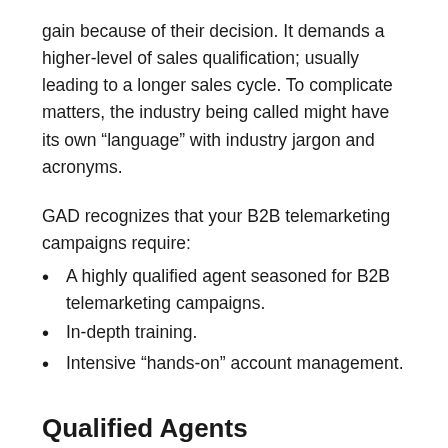gain because of their decision. It demands a higher-level of sales qualification; usually leading to a longer sales cycle. To complicate matters, the industry being called might have its own “language” with industry jargon and acronyms.
GAD recognizes that your B2B telemarketing campaigns require:
A highly qualified agent seasoned for B2B telemarketing campaigns.
In-depth training.
Intensive “hands-on” account management.
Qualified Agents